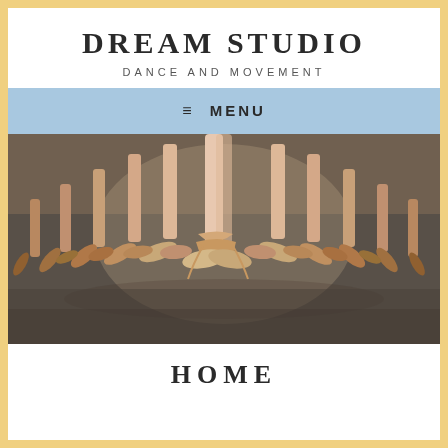DREAM STUDIO
DANCE AND MOVEMENT
≡ MENU
[Figure (photo): Ballet dancers in pointe shoes arranged in a fan/diamond formation, photographed from ground level showing legs and feet on a dance studio floor]
HOME